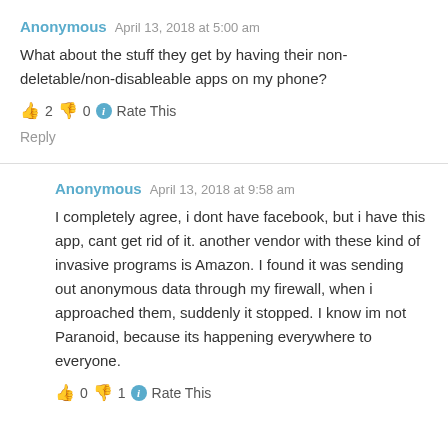Anonymous   April 13, 2018 at 5:00 am
What about the stuff they get by having their non-deletable/non-disableable apps on my phone?
👍 2 👎 0 ℹ Rate This
Reply
Anonymous   April 13, 2018 at 9:58 am
I completely agree, i dont have facebook, but i have this app, cant get rid of it. another vendor with these kind of invasive programs is Amazon. I found it was sending out anonymous data through my firewall, when i approached them, suddenly it stopped. I know im not Paranoid, because its happening everywhere to everyone.
👍 0 👎 1 ℹ Rate This